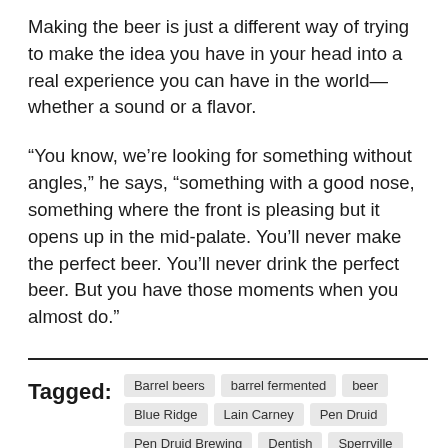Making the beer is just a different way of trying to make the idea you have in your head into a real experience you can have in the world— whether a sound or a flavor.
“You know, we’re looking for something without angles,” he says, “something with a good nose, something where the front is pleasing but it opens up in the mid-palate. You’ll never make the perfect beer. You’ll never drink the perfect beer. But you have those moments when you almost do.”
Tagged: Barrel beers | barrel fermented | beer | Blue Ridge | Lain Carney | Pen Druid | Pen Druid Brewing | Dentish | Sperrville